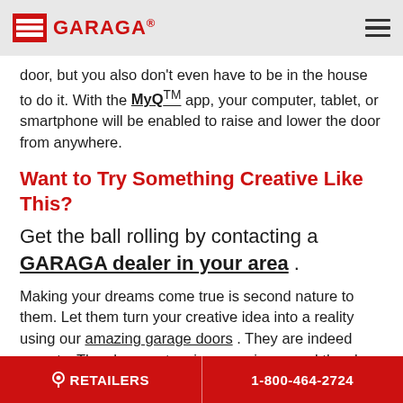GARAGA®
door, but you also don't even have to be in the house to do it. With the MyQ™ app, your computer, tablet, or smartphone will be enabled to raise and lower the door from anywhere.
Want to Try Something Creative Like This?
Get the ball rolling by contacting a GARAGA dealer in your area .
Making your dreams come true is second nature to them. Let them turn your creative idea into a reality using our amazing garage doors . They are indeed experts. They have extensive experience and they love helping you find the perfect garage door system for you.
RETAILERS | 1-800-464-2724